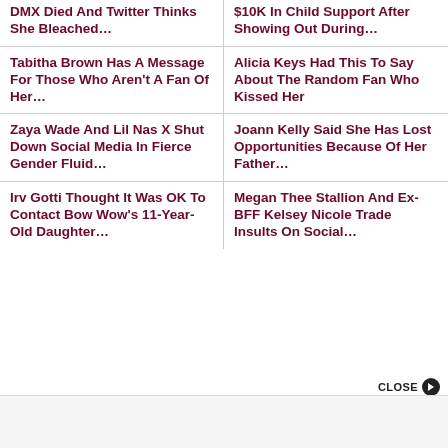DMX Died And Twitter Thinks She Bleached…
$10K In Child Support After Showing Out During…
Tabitha Brown Has A Message For Those Who Aren't A Fan Of Her…
Alicia Keys Had This To Say About The Random Fan Who Kissed Her
Zaya Wade And Lil Nas X Shut Down Social Media In Fierce Gender Fluid…
Joann Kelly Said She Has Lost Opportunities Because Of Her Father…
Irv Gotti Thought It Was OK To Contact Bow Wow's 11-Year-Old Daughter…
Megan Thee Stallion And Ex-BFF Kelsey Nicole Trade Insults On Social…